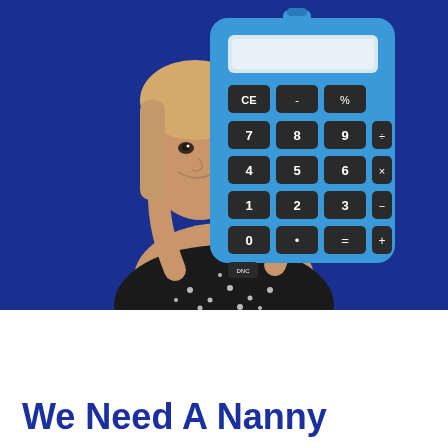[Figure (photo): Young woman holding a large blue calculator in front of her face against a dark blue background, wearing a black floral off-shoulder top.]
We Need A Nanny